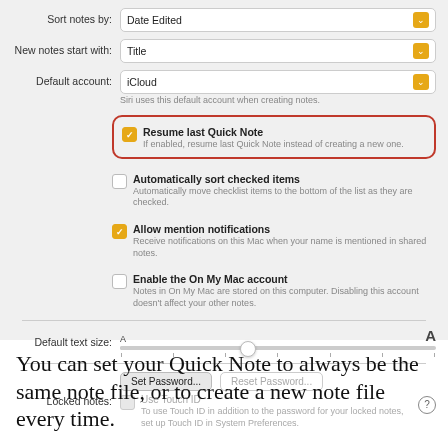[Figure (screenshot): macOS Notes preferences panel showing settings: Sort notes by (Date Edited), New notes start with (Title), Default account (iCloud), Resume last Quick Note checkbox (checked, highlighted with red border), Automatically sort checked items (unchecked), Allow mention notifications (checked), Enable the On My Mac account (unchecked), Default text size slider, Locked notes with Set Password and Reset Password buttons, Use Touch ID (disabled)]
You can set your Quick Note to always be the same note file, or to create a new note file every time.